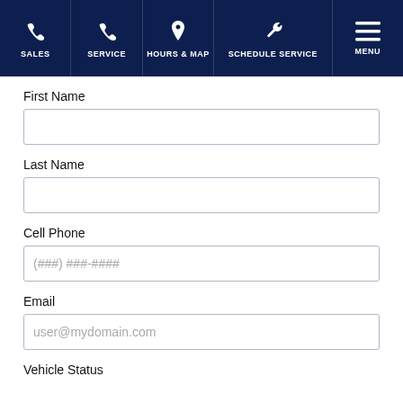SALES | SERVICE | HOURS & MAP | SCHEDULE SERVICE | MENU
First Name
Last Name
Cell Phone
(###) ###-####
Email
user@mydomain.com
Vehicle Status